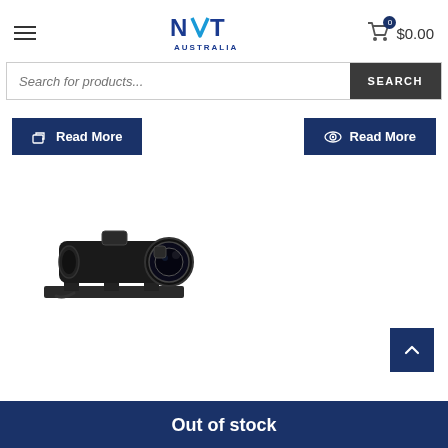NVT Australia — menu, logo, cart $0.00
Search for products...
Read More | Read More
[Figure (photo): A thermal or night-vision rifle scope / monocular attachment, black, mounted on a rail bracket, shown on a white background]
Out of stock